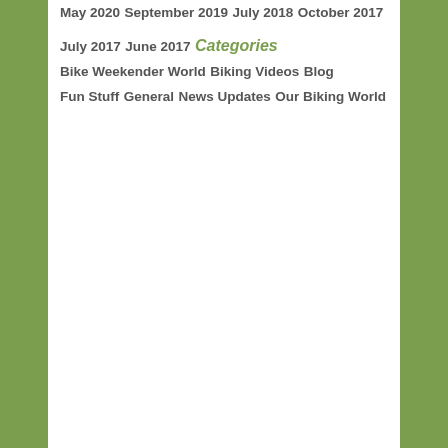May 2020
September 2019
July 2018
October 2017
July 2017
June 2017
Categories
Bike Weekender World
Biking Videos
Blog
Fun Stuff
General
News Updates
Our Biking World